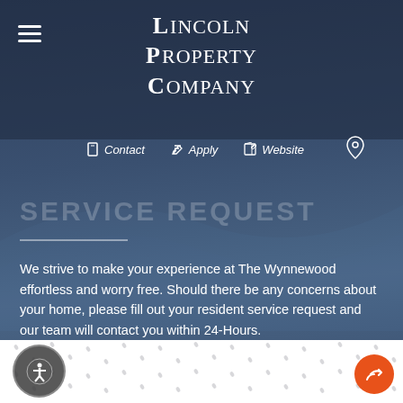Lincoln Property Company
SERVICE REQUEST
We strive to make your experience at The Wynnewood effortless and worry free. Should there be any concerns about your home, please fill out your resident service request and our team will contact you within 24-Hours.
→ SERVICE REQUEST